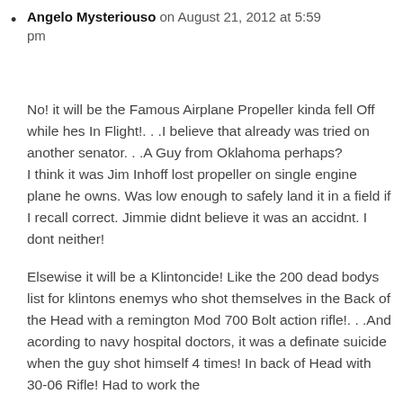Angelo Mysteriouso on August 21, 2012 at 5:59 pm

No! it will be the Famous Airplane Propeller kinda fell Off while hes In Flight!. . .I believe that already was tried on another senator. . .A Guy from Oklahoma perhaps?
I think it was Jim Inhoff lost propeller on single engine plane he owns. Was low enough to safely land it in a field if I recall correct. Jimmie didnt believe it was an accidnt. I dont neither!

Elsewise it will be a Klintoncide! Like the 200 dead bodys list for klintons enemys who shot themselves in the Back of the Head with a remington Mod 700 Bolt action rifle!. . .And acording to navy hospital doctors, it was a definate suicide when the guy shot himself 4 times! In back of Head with 30-06 Rifle! Had to work the